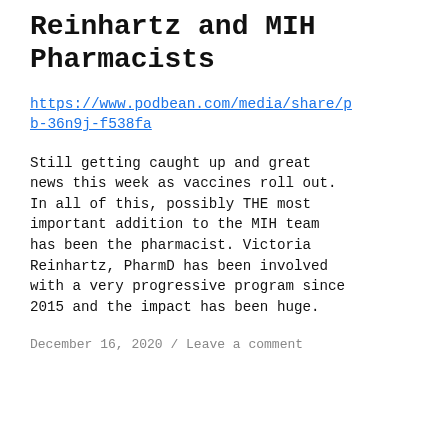Reinhartz and MIH Pharmacists
https://www.podbean.com/media/share/pb-36n9j-f538fa
Still getting caught up and great news this week as vaccines roll out. In all of this, possibly THE most important addition to the MIH team has been the pharmacist. Victoria Reinhartz, PharmD has been involved with a very progressive program since 2015 and the impact has been huge.
December 16, 2020 / Leave a comment